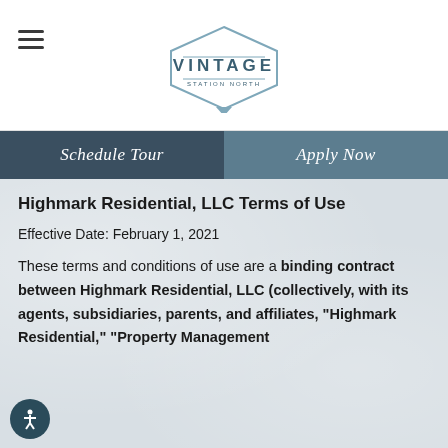VINTAGE STATION NORTH
Schedule Tour | Apply Now
Highmark Residential, LLC Terms of Use
Effective Date: February 1, 2021
These terms and conditions of use are a binding contract between Highmark Residential, LLC (collectively, with its agents, subsidiaries, parents, and affiliates, “Highmark Residential,” “Property Management